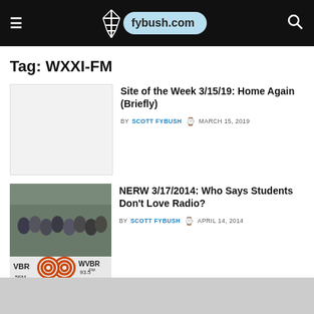fybush.com
Tag: WXXI-FM
Site of the Week 3/15/19: Home Again (Briefly)
BY SCOTT FYBUSH  MARCH 15, 2019
NERW 3/17/2014: Who Says Students Don't Love Radio?
BY SCOTT FYBUSH  APRIL 14, 2014